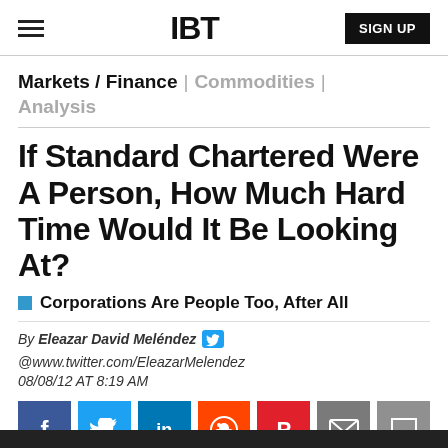IBT | SIGN UP
Markets / Finance | Commodities | Analysis
If Standard Chartered Were A Person, How Much Hard Time Would It Be Looking At?
Corporations Are People Too, After All
By Eleazar David Meléndez @www.twitter.com/EleazarMelendez
08/08/12 AT 8:19 AM